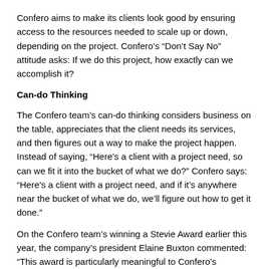Confero aims to make its clients look good by ensuring access to the resources needed to scale up or down, depending on the project. Confero’s “Don’t Say No” attitude asks: If we do this project, how exactly can we accomplish it?
Can-do Thinking
The Confero team’s can-do thinking considers business on the table, appreciates that the client needs its services, and then figures out a way to make the project happen. Instead of saying, “Here’s a client with a project need, so can we fit it into the bucket of what we do?” Confero says: “Here’s a client with a project need, and if it’s anywhere near the bucket of what we do, we’ll figure out how to get it done.”
On the Confero team’s winning a Stevie Award earlier this year, the company’s president Elaine Buxton commented: “This award is particularly meaningful to Confero’s customer service team because it recognizes the team’s delivery of quality solutions in 2010, including many that involved quick turnaround times and tough requirements.”
About Elaine Buxton
Confero’s president Elaine Buxton earned a B.S. from UNC-Chapel Hill